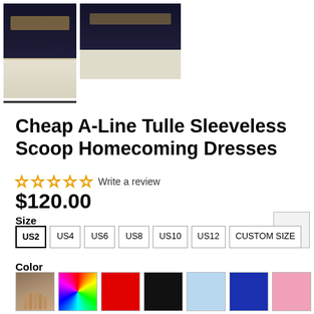[Figure (photo): Two product thumbnail photos of a dark navy/black homecoming dress with gold floral embellishments and white tulle skirt. Left thumbnail is selected (underline). Right thumbnail is slightly smaller.]
Cheap A-Line Tulle Sleeveless Scoop Homecoming Dresses
☆☆☆☆☆ Write a review
$120.00
Size
US2 US4 US6 US8 US10 US12 CUSTOM SIZE
Color
[Figure (photo): Row of color swatches: skin/photo, rainbow/multicolor, red, black, light blue, dark blue, pink, champagne/gold, and partial dark red at bottom]